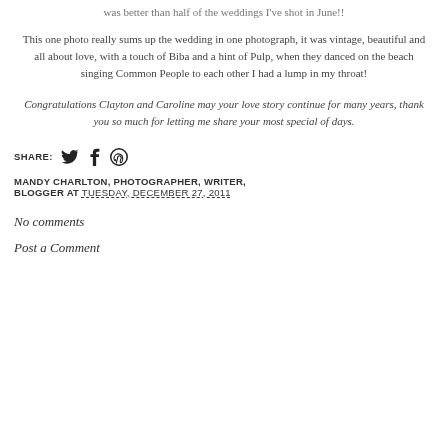was better than half of the weddings I've shot in June!!
This one photo really sums up the wedding in one photograph, it was vintage, beautiful and all about love, with a touch of Biba and a hint of Pulp, when they danced on the beach singing Common People to each other I had a lump in my throat!
Congratulations Clayton and Caroline may your love story continue for many years, thank you so much for letting me share your most special of days.
SHARE: [Twitter] [Facebook] [Pinterest]
MANDY CHARLTON, PHOTOGRAPHER, WRITER, BLOGGER AT TUESDAY, DECEMBER 27, 2011
No comments
Post a Comment